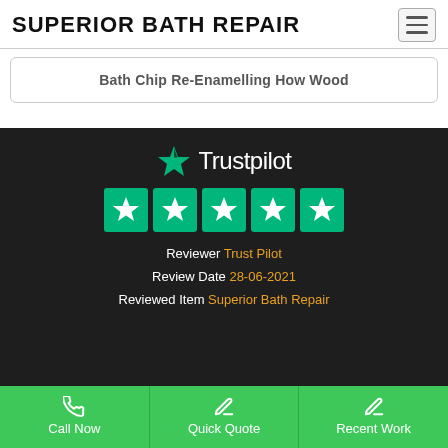SUPERIOR BATH REPAIR
Bath Chip Re-Enamelling How Wood
[Figure (logo): Trustpilot logo with star icon and five green star rating boxes]
Reviewer Trust Pilot
Review Date 28-06-2021
Reviewed Item Superior Bath Repair
Call Now
Quick Quote
Recent Work